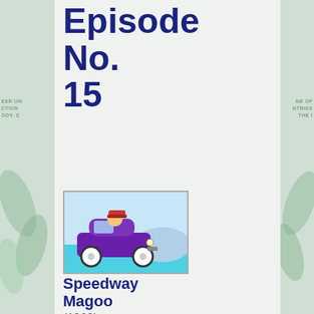Episode No. 15
[Figure (screenshot): Animation still showing Mr. Magoo driving a purple car on a racetrack/road]
Speedway Magoo
(1960)
UPA
- Mr. Magoo
[Figure (illustration): Image icon placeholder (green background with mountain/image symbol)]
[Figure (illustration): Music disc / CD icon (dark circle with inner circle)]
[Figure (illustration): Cyan/teal colored bar at bottom]